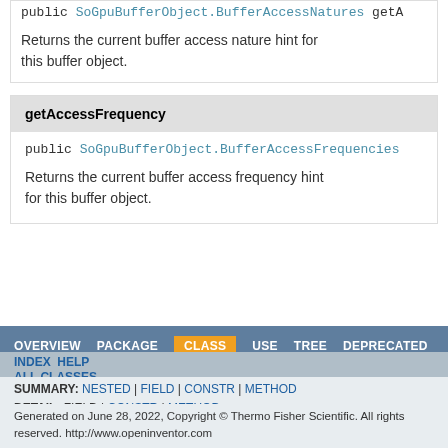public SoGpuBufferObject.BufferAccessNatures getA
Returns the current buffer access nature hint for this buffer object.
getAccessFrequency
public SoGpuBufferObject.BufferAccessFrequencies
Returns the current buffer access frequency hint for this buffer object.
OVERVIEW  PACKAGE  CLASS  USE  TREE  DEPRECATED  INDEX  HELP  ALL CLASSES  SUMMARY: NESTED | FIELD | CONSTR | METHOD  DETAIL: FIELD | CONSTR | METHOD  Generated on June 28, 2022, Copyright © Thermo Fisher Scientific. All rights reserved. http://www.openinventor.com